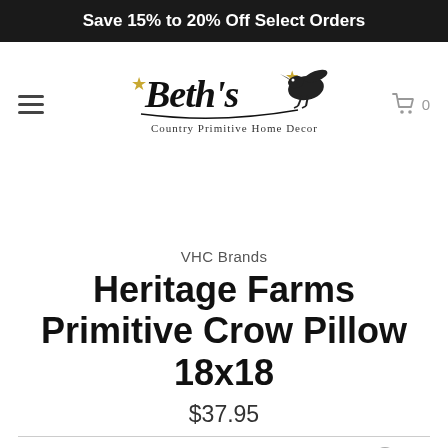Save 15% to 20% Off Select Orders
[Figure (logo): Beth's Country Primitive Home Decor logo with crow bird and stars]
VHC Brands
Heritage Farms Primitive Crow Pillow 18x18
$37.95
or 4 interest-free payments of $9.49 with Sezzle